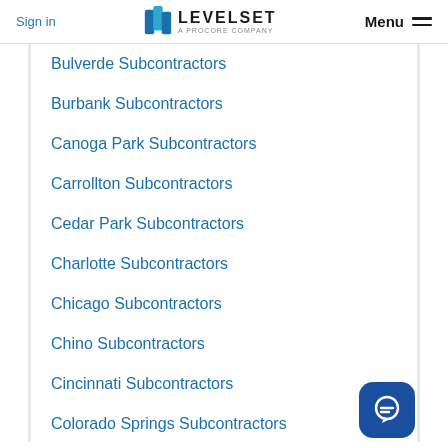Sign in | LEVELSET A PROCORE COMPANY | Menu
Bulverde Subcontractors
Burbank Subcontractors
Canoga Park Subcontractors
Carrollton Subcontractors
Cedar Park Subcontractors
Charlotte Subcontractors
Chicago Subcontractors
Chino Subcontractors
Cincinnati Subcontractors
Colorado Springs Subcontractors
Columbus Subcontractors